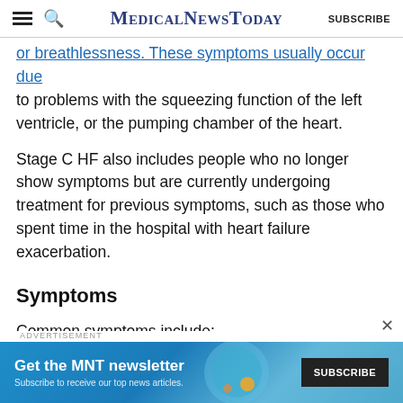MedicalNewsToday | SUBSCRIBE
or breathlessness. These symptoms usually occur due to problems with the squeezing function of the left ventricle, or the pumping chamber of the heart.
Stage C HF also includes people who no longer show symptoms but are currently undergoing treatment for previous symptoms, such as those who spent time in the hospital with heart failure exacerbation.
Symptoms
Common symptoms include:
[Figure (screenshot): MNT newsletter advertisement banner with 'Get the MNT newsletter' heading and SUBSCRIBE button]